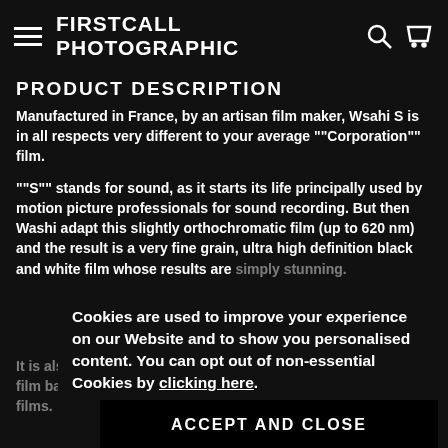FIRSTCALL PHOTOGRAPHIC
PRODUCT DESCRIPTION
Manufactured in France, by an artisan film maker, Wsahi S is in all respects very different to your average ""Corporation"" film.
""S"" stands for sound, as it starts its life principally used by motion picture professionals for sound recording. But then Washi adapt this slightly orthochromatic film (up to 620 nm) and the result is a very fine grain, ultra high definition black and white film whose results are simply stunning.
It is also unique in that it has an adhesive layer located on the film base, while it's usually clear/transparent for ordinary films.
Cookies are used to improve your experience on our Website and to show you personalised content. You can opt out of non-essential Cookies by clicking here.
ACCEPT AND CLOSE
Social media users love the dramatic contrast you get with this film. Many people who have never seen such silky black results in a monochrome film and are bowled-over by it.